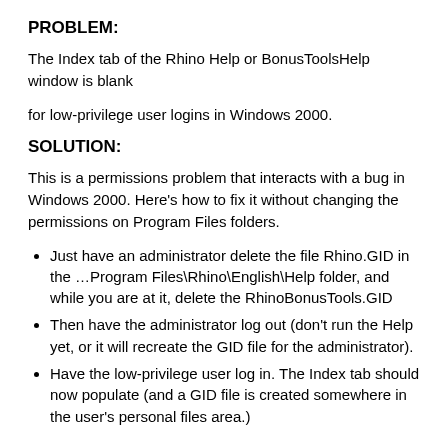PROBLEM:
The Index tab of the Rhino Help or BonusToolsHelp window is blank
for low-privilege user logins in Windows 2000.
SOLUTION:
This is a permissions problem that interacts with a bug in Windows 2000. Here's how to fix it without changing the permissions on Program Files folders.
Just have an administrator delete the file Rhino.GID in the …Program Files\Rhino\English\Help folder, and while you are at it, delete the RhinoBonusTools.GID
Then have the administrator log out (don't run the Help yet, or it will recreate the GID file for the administrator).
Have the low-privilege user log in. The Index tab should now populate (and a GID file is created somewhere in the user's personal files area.)